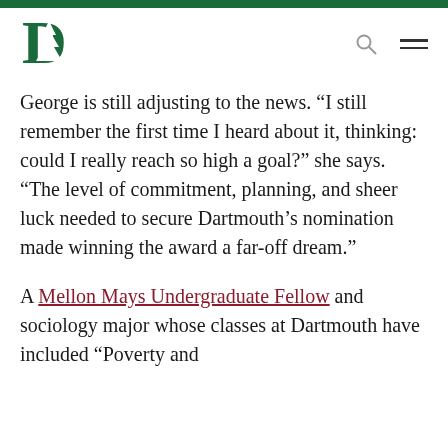[Figure (logo): Dartmouth College green pine tree logo with letter D]
George is still adjusting to the news. “I still remember the first time I heard about it, thinking: could I really reach so high a goal?” she says. “The level of commitment, planning, and sheer luck needed to secure Dartmouth’s nomination made winning the award a far-off dream.”
A Mellon Mays Undergraduate Fellow and sociology major whose classes at Dartmouth have included “Poverty and